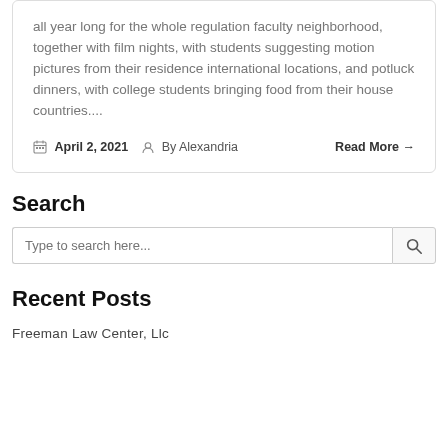all year long for the whole regulation faculty neighborhood, together with film nights, with students suggesting motion pictures from their residence international locations, and potluck dinners, with college students bringing food from their house countries....
April 2, 2021   By Alexandria   Read More →
Search
Type to search here...
Recent Posts
Freeman Law Center, Llc